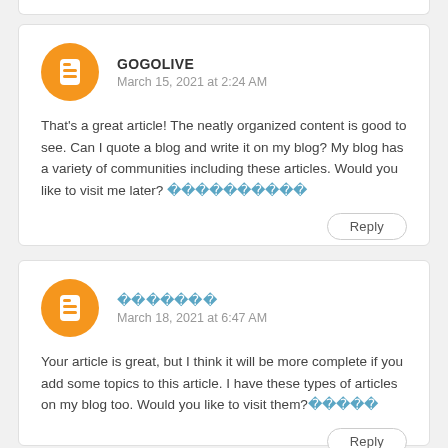GOGOLIVE
March 15, 2021 at 2:24 AM

That's a great article! The neatly organized content is good to see. Can I quote a blog and write it on my blog? My blog has a variety of communities including these articles. Would you like to visit me later? [link]
[username]
March 18, 2021 at 6:47 AM

Your article is great, but I think it will be more complete if you add some topics to this article. I have these types of articles on my blog too. Would you like to visit them?[link]